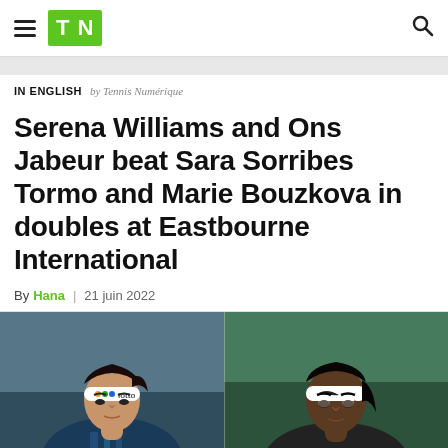TN
IN ENGLISH by Tennis Numérique
Serena Williams and Ons Jabeur beat Sara Sorribes Tormo and Marie Bouzkova in doubles at Eastbourne International
By Hana | 21 juin 2022
[Figure (photo): Side-by-side photo of Ons Jabeur (left, wearing a Lotto headband, looking down) and Serena Williams (right, wearing a white Nike headband, looking forward)]